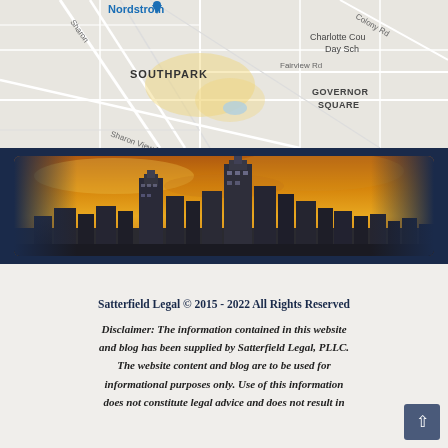[Figure (map): Google Maps view showing SouthPark area of Charlotte, NC with roads including Sharon View Rd, Fairview Rd, Sharon Rd, Colony Rd, and landmarks including Nordstrom, Charlotte County Day School, and Governor Square]
[Figure (photo): Charlotte NC city skyline panorama at sunset/dusk with dramatic orange and yellow sky, shown as a horizontal banner on dark navy background]
Satterfield Legal © 2015 - 2022 All Rights Reserved
Disclaimer: The information contained in this website and blog has been supplied by Satterfield Legal, PLLC. The website content and blog are to be used for informational purposes only. Use of this information does not constitute legal advice and does not result in the formation of an attorney-client relationship.